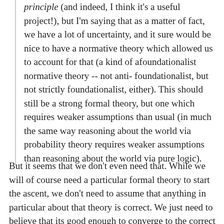principle (and indeed, I think it's a useful project!), but I'm saying that as a matter of fact, we have a lot of uncertainty, and it sure would be nice to have a normative theory which allowed us to account for that (a kind of afoundationalist normative theory -- not anti-foundationalist, but not strictly foundationalist, either). This should still be a strong formal theory, but one which requires weaker assumptions than usual (in much the same way reasoning about the world via probability theory requires weaker assumptions than reasoning about the world via pure logic).
But it seems that we don't even need that. While we will of course need a particular formal theory to start the ascent, we don't need to assume that anything in particular about that theory is correct. We just need to believe that its good enough to converge to the correct interpretation. There are